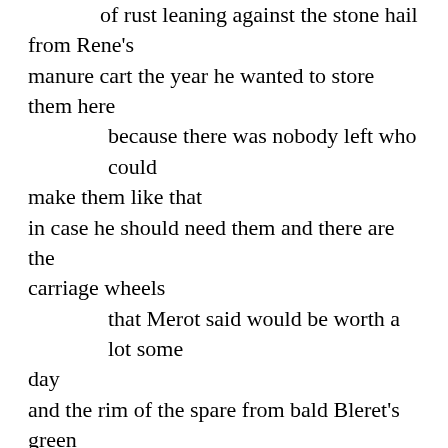of rust leaning against the stone hail from Rene's
manure cart the year he wanted to store them here
        because there was nobody left who could make them like that
in case he should need them and there are the carriage wheels
        that Merot said would be worth a lot some day
and the rim of the spare from bald Bleret's green Samson
        that rose like Borobudur out of the high grass
behind the old house by the river where he stuffed
        mattresses in the morning sunlight and the